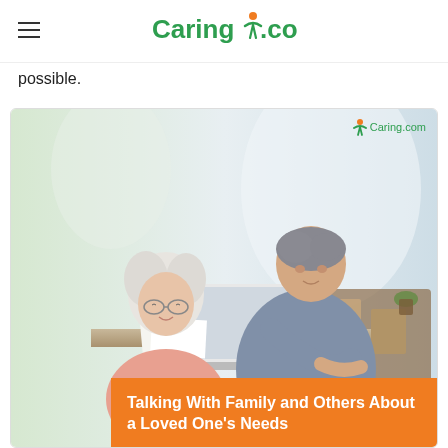Caring.com
possible.
[Figure (photo): A middle-aged man leaning over to help an elderly woman with white hair and glasses look at a laptop computer on a table outdoors. The woman is wearing a pink top. The image has a Caring.com watermark in the upper right corner.]
Talking With Family and Others About a Loved One's Needs